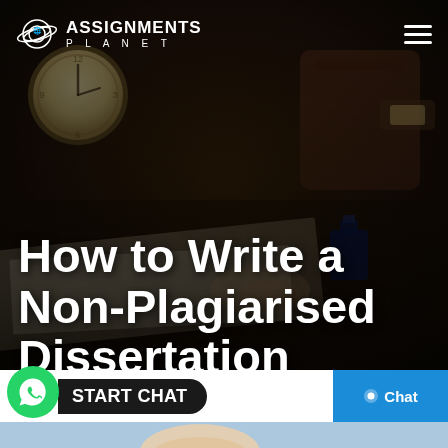[Figure (screenshot): Dark hero background image showing a desk with a clock, papers, ink bottle, and hands writing — dimly lit, dark brown tone]
ASSIGNMENTS PLANET
How to Write a Non-Plagiarised Dissertation
[Figure (screenshot): START CHAT button with WhatsApp green icon on white bar, and blue Chat button on right]
[Figure (photo): Bottom strip showing beginning of a photo — person visible at bottom]